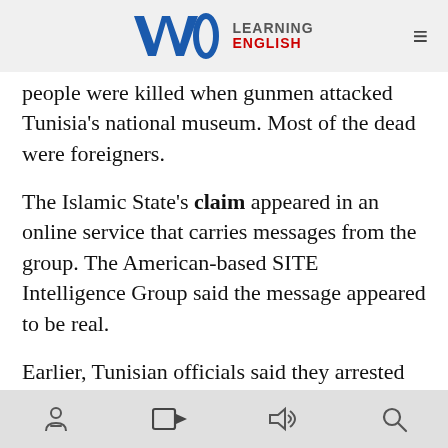VOA LEARNING ENGLISH
people were killed when gunmen attacked Tunisia's national museum. Most of the dead were foreigners.
The Islamic State's claim appeared in an online service that carries messages from the group. The American-based SITE Intelligence Group said the message appeared to be real.
Earlier, Tunisian officials said they arrested nine people in connection with the attack. Security forces shot and killed two of the gunmen. Witnesses said the two had been shooting people outside the National Bardo Museum and capturing others as hostages.
navigation icons: reader, video, audio, search